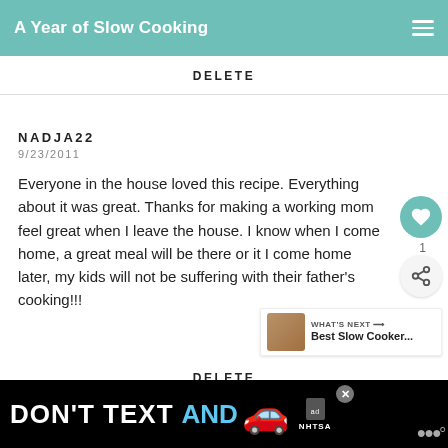A Year of Slow Cooking
DELETE
NADJA22
9/23/2011
Everyone in the house loved this recipe. Everything about it was great. Thanks for making a working mom feel great when I leave the house. I know when I come home, a great meal will be there or it I come home later, my kids will not be suffering with their father's cooking!!!
DELETE
[Figure (screenshot): Ad banner: DON'T TEXT AND [car emoji] with NHTSA branding and close button]